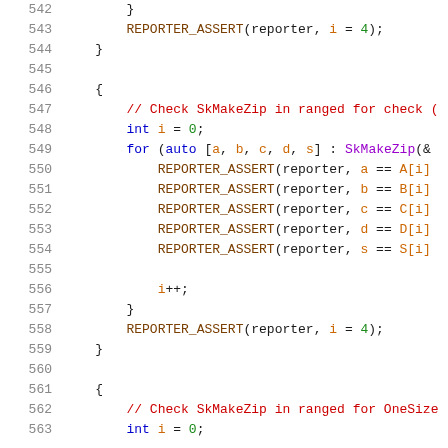[Figure (screenshot): Source code listing showing lines 542-563 of a C++ file with syntax highlighting. Code shows REPORTER_ASSERT calls and a ranged for loop using SkMakeZip.]